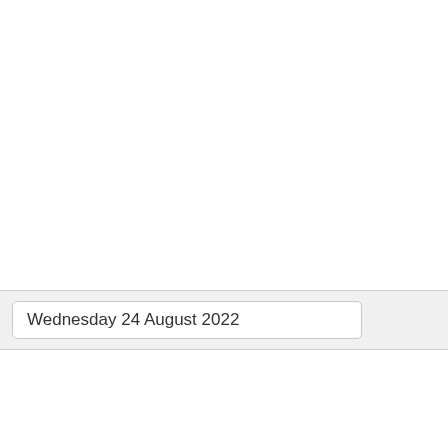Wednesday 24 August 2022
| Time | TV Show |
| --- | --- |
| 12:00 am | America Outdoors with Baratunde Thurston |